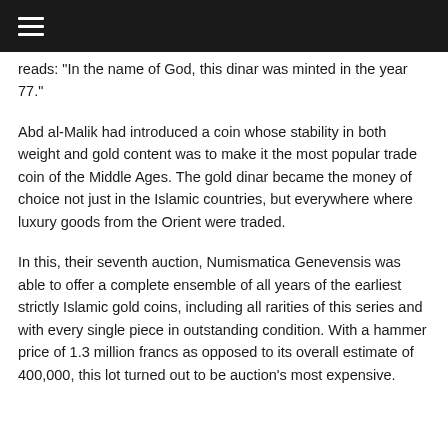☰
reads: "In the name of God, this dinar was minted in the year 77."
Abd al-Malik had introduced a coin whose stability in both weight and gold content was to make it the most popular trade coin of the Middle Ages. The gold dinar became the money of choice not just in the Islamic countries, but everywhere where luxury goods from the Orient were traded.
In this, their seventh auction, Numismatica Genevensis was able to offer a complete ensemble of all years of the earliest strictly Islamic gold coins, including all rarities of this series and with every single piece in outstanding condition. With a hammer price of 1.3 million francs as opposed to its overall estimate of 400,000, this lot turned out to be auction's most expensive.